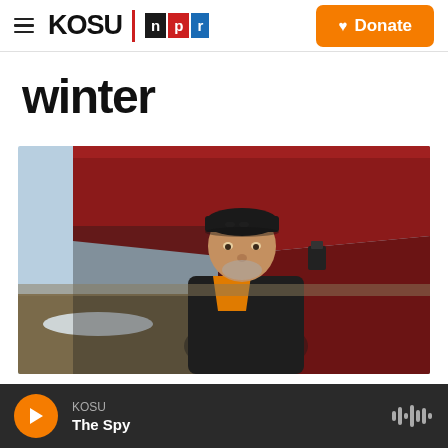KOSU | NPR — Donate
winter
[Figure (photo): Middle-aged man in a black cap and orange hoodie under a dark jacket, standing in front of a red metal farm structure (grain bin or hopper), with a flat winter field and patches of snow in the background.]
KOSU — The Spy